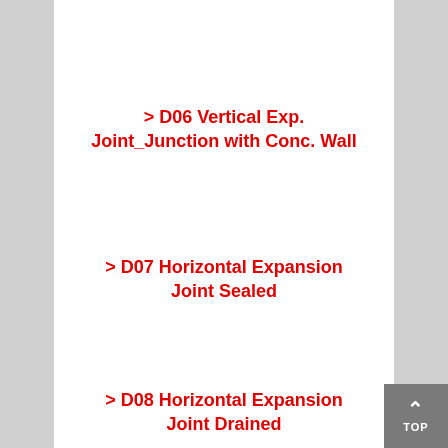> D06 Vertical Exp. Joint_Junction with Conc. Wall
> D07 Horizontal Expansion Joint Sealed
> D08 Horizontal Expansion Joint Drained